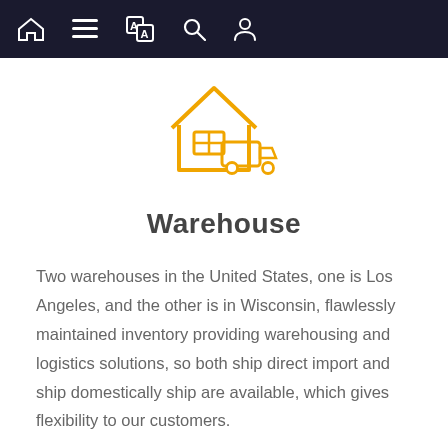Navigation bar with home, menu, translate, search, and profile icons
[Figure (illustration): Orange outline icon of a warehouse building with a delivery truck in front]
Warehouse
Two warehouses in the United States, one is Los Angeles, and the other is in Wisconsin, flawlessly maintained inventory providing warehousing and logistics solutions, so both ship direct import and ship domestically ship are available, which gives flexibility to our customers.
[Figure (illustration): Orange icon of two people / team members]